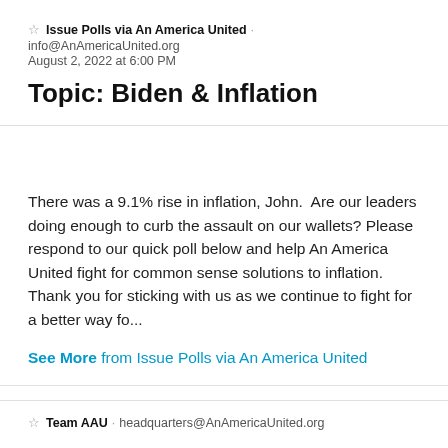Issue Polls via An America United · info@AnAmericaUnited.org August 2, 2022 at 6:00 PM
Topic: Biden & Inflation
There was a 9.1% rise in inflation, John.  Are our leaders doing enough to curb the assault on our wallets? Please respond to our quick poll below and help An America United fight for common sense solutions to inflation. Thank you for sticking with us as we continue to fight for a better way fo...
See More from Issue Polls via An America United
Team AAU · headquarters@AnAmericaUnited.org